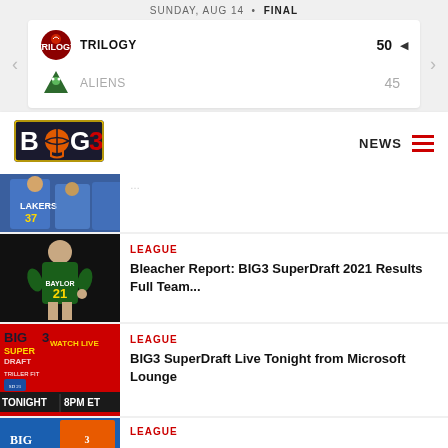SUNDAY, AUG 14 · FINAL
| Team | Score |
| --- | --- |
| TRILOGY | 50 |
| ALIENS | 45 |
[Figure (logo): BIG3 basketball league logo]
NEWS
[Figure (photo): Lakers players in blue jerseys, number 37 visible]
LEAGUE
Bleacher Report: BIG3 SuperDraft 2021 Results Full Team...
[Figure (photo): Baylor basketball player number 21 in green jersey celebrating]
LEAGUE
BIG3 SuperDraft Live Tonight from Microsoft Lounge
[Figure (photo): BIG3 SuperDraft promotional image - TONIGHT 8PM ET red background]
LEAGUE